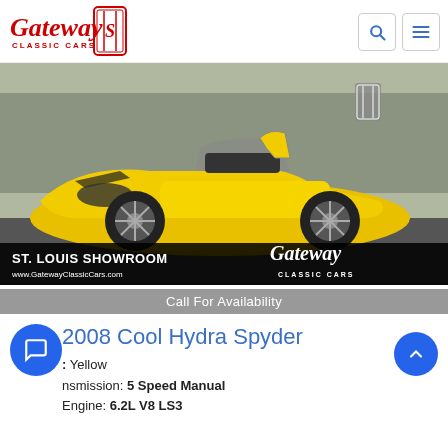Gateway Classic Cars - logo and navigation
[Figure (photo): Yellow 2008 Cool Hydra Spyder convertible sports car photographed outdoors with trees in background. St. Louis Showroom branding overlay at bottom with Gateway Classic Cars logo and www.GatewayClassicCars.com URL.]
Call For Availability
2008 Cool Hydra Spyder
Color: Yellow
Transmission: 5 Speed Manual
Engine: 6.2L V8 LS3